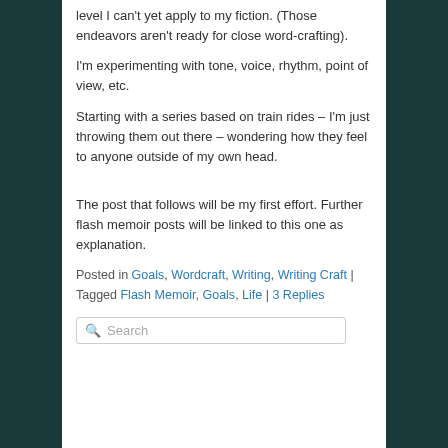level I can't yet apply to my fiction. (Those endeavors aren't ready for close word-crafting).
I'm experimenting with tone, voice, rhythm, point of view, etc.
Starting with a series based on train rides – I'm just throwing them out there – wondering how they feel to anyone outside of my own head.
The post that follows will be my first effort. Further flash memoir posts will be linked to this one as explanation.
Posted in Goals, Wordcraft, Writing, Writing Craft | Tagged Flash Memoir, Goals, Life | 3 Replies
Search